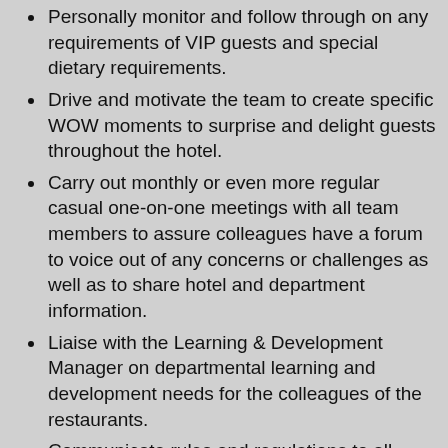Personally monitor and follow through on any requirements of VIP guests and special dietary requirements.
Drive and motivate the team to create specific WOW moments to surprise and delight guests throughout the hotel.
Carry out monthly or even more regular casual one-on-one meetings with all team members to assure colleagues have a forum to voice out of any concerns or challenges as well as to share hotel and department information.
Liaise with the Learning & Development Manager on departmental learning and development needs for the colleagues of the restaurants.
Communicate rules and regulations to all colleagues by using the colleague handbook and any other appropriate documents.
Conduct daily meetings with the team and provide a regular forum for two-way communication with the whole team.
To ensure that all kitchen areas that they are responsible for are d...